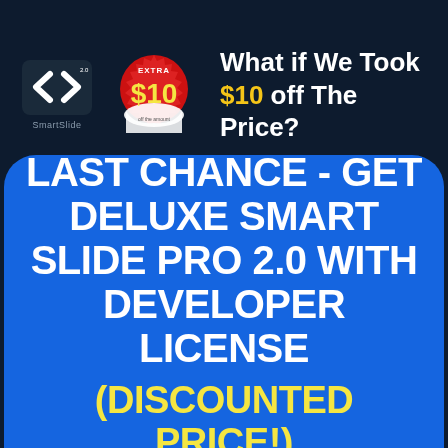[Figure (logo): SmartSlide logo — two white angle-bracket chevrons on dark background with 'SmartSlide' text below]
[Figure (illustration): Red circular badge/sticker with 'EXTRA $10' text and a torn paper edge effect showing yellow $10 amount]
What if We Took $10 off The Price?
LAST CHANCE - GET DELUXE SMART SLIDE PRO 2.0 WITH DEVELOPER LICENSE (DISCOUNTED PRICE!)